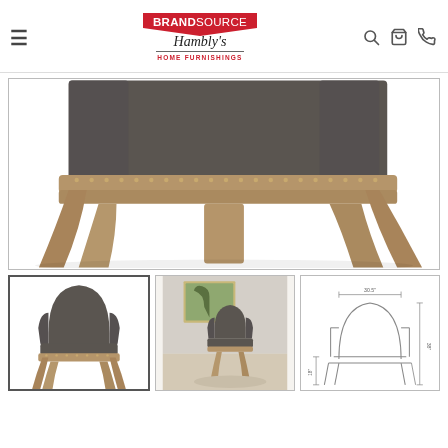[Figure (logo): BrandSource Hambly's Home Furnishings logo with red house-shaped icon and script text]
[Figure (photo): Close-up of an upholstered armchair with dark gray fabric, nailhead trim along the frame border, and weathered wood legs - showing the lower portion of the chair]
[Figure (photo): Thumbnail 1: Full view of dark gray upholstered armchair with wood frame]
[Figure (photo): Thumbnail 2: Side/lifestyle photo of the armchair in a room setting]
[Figure (engineering-diagram): Thumbnail 3: Line drawing/schematic of armchair with dimension annotations]